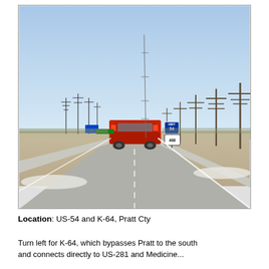[Figure (photo): Road-trip photograph taken from inside a vehicle on US-54 highway in Kansas. A red truck is visible ahead on a two-lane highway. Power lines and utility poles line the right side of the road. Road signs for US-54 and K-400 are visible. Flat Kansas farmland stretches to the horizon under a clear blue sky. A blue highway directional sign is visible in the distance on the left.]
Location: US-54 and K-64, Pratt Cty
Turn left for K-64, which bypasses Pratt to the south and connects directly to US-281 and Medicine...